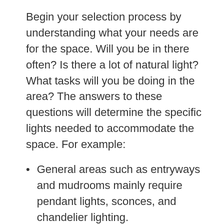Begin your selection process by understanding what your needs are for the space. Will you be in there often? Is there a lot of natural light? What tasks will you be doing in the area? The answers to these questions will determine the specific lights needed to accommodate the space. For example:
General areas such as entryways and mudrooms mainly require pendant lights, sconces, and chandelier lighting.
Specific areas include home office and kitchens which use targeted light or task lighting to brighten work areas like the